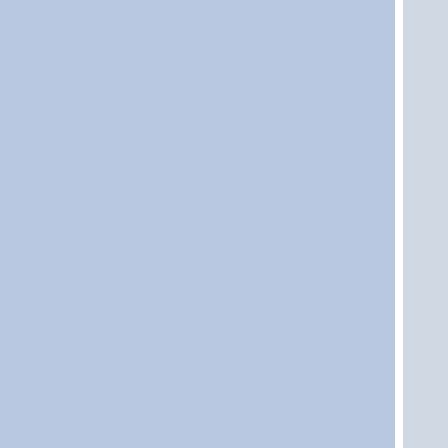[Figure (screenshot): Web page navigation panel partially visible on the right edge, showing a table of contents or navigation list with a bold header 'D' and multiple blue link items starting with letters S, Id, P (repeated multiple times). The left portion shows two blue-gray content panels separated by a white vertical divider.]
D
S
Id
P
P
P
P
P
P
P
P
P
P